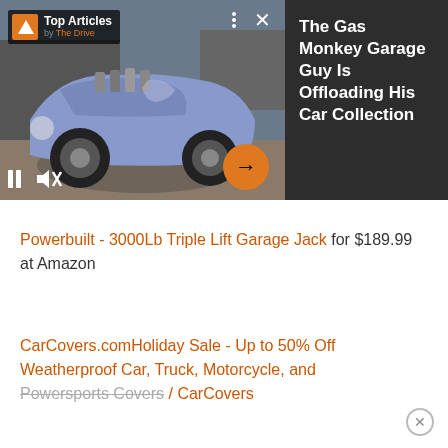[Figure (screenshot): Video player showing a vintage hot rod car (purple/lavender custom build) in a garage. Top Articles badge by The Drive visible. Pause and mute controls at bottom left. Orange arrow button at bottom right. Three-dot menu and X close button at top right of video.]
The Gas Monkey Garage Guy Is Offloading His Car Collection
Powerbuillt - 3000Lb Triple Lift Garage Jack for $189.99 at Amazon
CarCovers.comHoliday Sale - Up to 50% Off Weatherproof Car, Truck, Motorcycle, and Powersports Covers / CarCovers